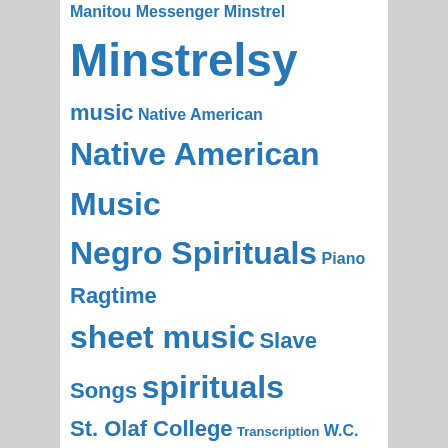Manitou Messenger  Minstrel  Minstrelsy  music  Native American  Native American Music  Negro Spirituals  Piano  Ragtime  sheet music  Slave Songs  spirituals  St. Olaf College  Transcription  W.C. Handy  women  Woody Guthrie
ARCHIVES
May 2022
April 2022
December 2021
November 2021
October 2021
September 2021
November 2019
October 2019
September 2019